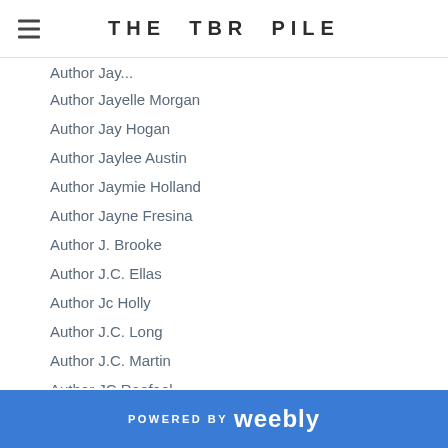THE TBR PILE
Author Jayelle Morgan
Author Jay Hogan
Author Jaylee Austin
Author Jaymie Holland
Author Jayne Fresina
Author J. Brooke
Author J.C. Ellas
Author Jc Holly
Author J.C. Long
Author J.C. Martin
Author JC Raefael
Author Jeanine Englert
Author Jean Maxwell
Author Jeffery Deaver
Author Jenika Snow
Author Jenna Black
Author Jenna Ives
POWERED BY weebly